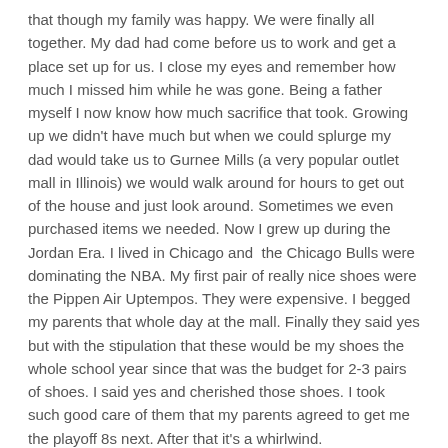that though my family was happy. We were finally all together. My dad had come before us to work and get a place set up for us. I close my eyes and remember how much I missed him while he was gone. Being a father myself I now know how much sacrifice that took. Growing up we didn't have much but when we could splurge my dad would take us to Gurnee Mills (a very popular outlet mall in Illinois) we would walk around for hours to get out of the house and just look around. Sometimes we even purchased items we needed. Now I grew up during the Jordan Era. I lived in Chicago and the Chicago Bulls were dominating the NBA. My first pair of really nice shoes were the Pippen Air Uptempos. They were expensive. I begged my parents that whole day at the mall. Finally they said yes but with the stipulation that these would be my shoes the whole school year since that was the budget for 2-3 pairs of shoes. I said yes and cherished those shoes. I took such good care of them that my parents agreed to get me the playoff 8s next. After that it's a whirlwind.
Those shoes taught me the value of a dollar. My dad waking up at the crack of dawn to go to work EVERYDAY taught me that hard work pays off. After that I focused on school and once I could work I got a job and guess what I did? Bought